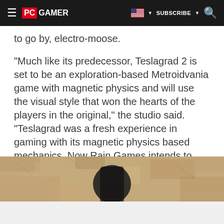PC GAMER | SUBSCRIBE
to go by, electro-moose.
"Much like its predecessor, Teslagrad 2 is set to be an exploration-based Metroidvania game with magnetic physics and will use the visual style that won the hearts of the players in the original," the studio said. "Teslagrad was a fresh experience in gaming with its magnetic physics based mechanics. Now Rain Games intends to take this experience up a level within the sequel, by sparking new life into the game with additions that will set it apart from the original."
Sponsored Links
[Figure (photo): Partial view of a character or scene from a game, showing stone/rocky texture background with a dark figure/object in the center.]